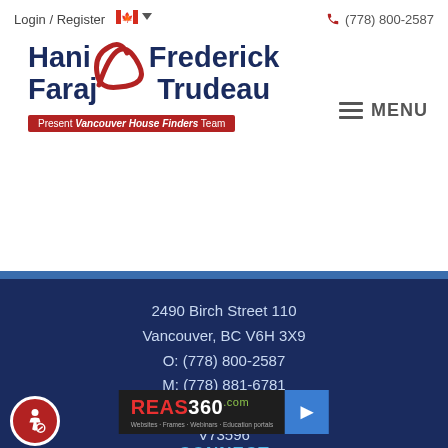Login / Register   (778) 800-2587
[Figure (logo): Hani & Frederick Faraj & Trudeau - Vancouver House Finders Team logo with red ampersand swash]
MENU
2490 Birch Street 110
Vancouver, BC V6H 3X9
O: (778) 800-2587
M: (778) 881-6781
E: Email Us
V73596
[Figure (logo): REAS360.com logo with arrow button - Websites, Frames, Webinars, Education portals]
CONNECT
Facebook